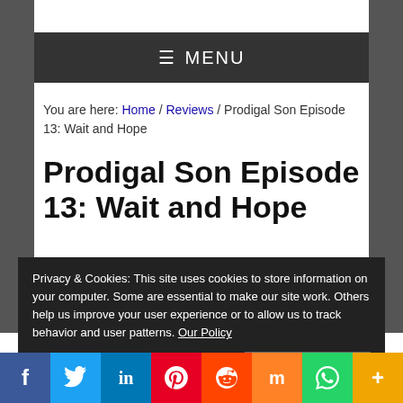≡ MENU
You are here: Home / Reviews / Prodigal Son Episode 13: Wait and Hope
Prodigal Son Episode 13: Wait and Hope
Privacy & Cookies: This site uses cookies to store information on your computer. Some are essential to make our site work. Others help us improve your user experience or to allow us to track behavior and user patterns. Our Policy
Close and accept
f  Twitter  in  P  Reddit  m  WhatsApp  +